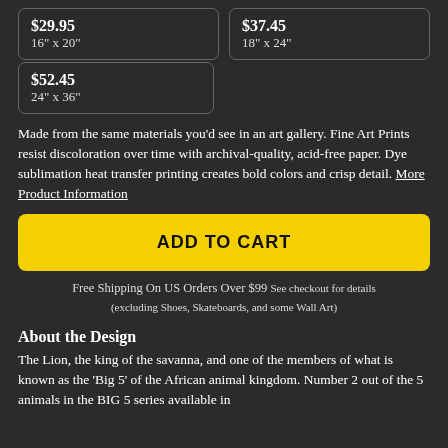$29.95
16" x 20"
$37.45
18" x 24"
$52.45
24" x 36"
Made from the same materials you'd see in an art gallery. Fine Art Prints resist discoloration over time with archival-quality, acid-free paper. Dye sublimation heat transfer printing creates bold colors and crisp detail. More Product Information
ADD TO CART
Free Shipping On US Orders Over $99 See checkout for details (excluding Shoes, Skateboards, and some Wall Art)
About the Design
The Lion, the king of the savanna, and one of the members of what is known as the 'Big 5' of the African animal kingdom. Number 2 out of the 5 animals in the BIG 5 series available in